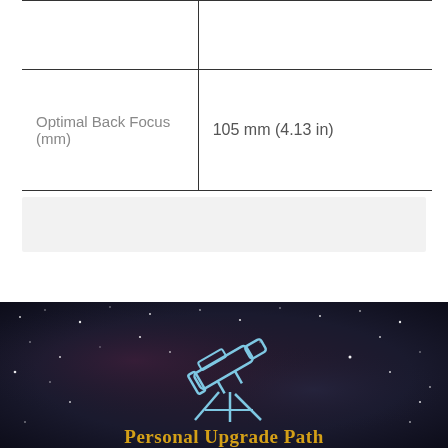| Optimal Back Focus (mm) | 105 mm (4.13 in) |
[Figure (illustration): Dark space/night sky background banner with a telescope icon and 'Personal Upgrade Path' text in gold]